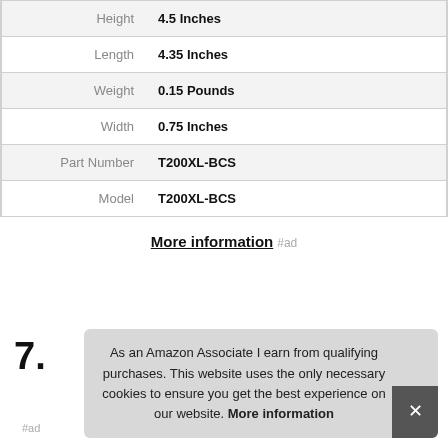| Attribute | Value |
| --- | --- |
| Height | 4.5 Inches |
| Length | 4.35 Inches |
| Weight | 0.15 Pounds |
| Width | 0.75 Inches |
| Part Number | T200XL-BCS |
| Model | T200XL-BCS |
More information #ad
7.
As an Amazon Associate I earn from qualifying purchases. This website uses the only necessary cookies to ensure you get the best experience on our website. More information
#ad